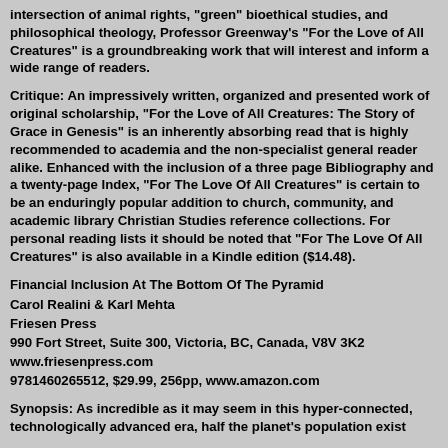intersection of animal rights, "green" bioethical studies, and philosophical theology, Professor Greenway's "For the Love of All Creatures" is a groundbreaking work that will interest and inform a wide range of readers.
Critique: An impressively written, organized and presented work of original scholarship, "For the Love of All Creatures: The Story of Grace in Genesis" is an inherently absorbing read that is highly recommended to academia and the non-specialist general reader alike. Enhanced with the inclusion of a three page Bibliography and a twenty-page Index, "For The Love Of All Creatures" is certain to be an enduringly popular addition to church, community, and academic library Christian Studies reference collections. For personal reading lists it should be noted that "For The Love Of All Creatures" is also available in a Kindle edition ($14.48).
Financial Inclusion At The Bottom Of The Pyramid
Carol Realini & Karl Mehta
Friesen Press
990 Fort Street, Suite 300, Victoria, BC, Canada, V8V 3K2
www.friesenpress.com
9781460265512, $29.99, 256pp, www.amazon.com
Synopsis: As incredible as it may seem in this hyper-connected, technologically advanced era, half the planet's population exist